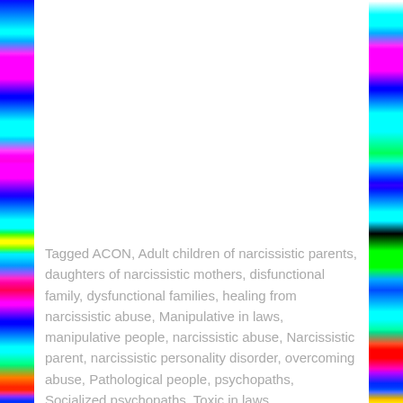Tagged ACON, Adult children of narcissistic parents, daughters of narcissistic mothers, disfunctional family, dysfunctional families, healing from narcissistic abuse, Manipulative in laws, manipulative people, narcissistic abuse, Narcissistic parent, narcissistic personality disorder, overcoming abuse, Pathological people, psychopaths, Socialized psychopaths, Toxic in laws Leave a comment